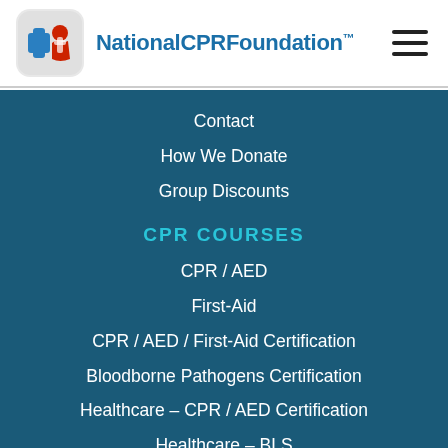NationalCPRFoundation™
Contact
How We Donate
Group Discounts
CPR COURSES
CPR / AED
First-Aid
CPR / AED / First-Aid Certification
Bloodborne Pathogens Certification
Healthcare – CPR / AED Certification
Healthcare – BLS
LEGAL